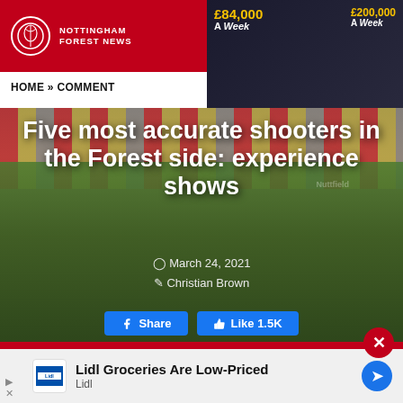Nottingham Forest News
[Figure (photo): Advertisement thumbnail showing footballers with salary text: £84,000 A Week, £200,000 A Week. Caption: Footballers Who Earn Less Than Lingard]
HOME » COMMENT
[Figure (photo): Nottingham Forest players in yellow and blue kit celebrating on a football pitch with empty stadium seats in the background]
Five most accurate shooters in the Forest side: experience shows
March 24, 2021
Christian Brown
Share   Like 1.5K
[Figure (other): Lidl advertisement: Lidl Groceries Are Low-Priced, Lidl]